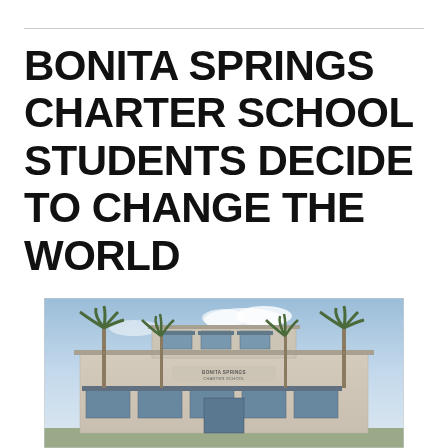BONITA SPRINGS CHARTER SCHOOL STUDENTS DECIDE TO CHANGE THE WORLD
[Figure (photo): Exterior photograph of Bonita Springs Charter School building — a two-story stucco facade with large windows, awnings, palm trees, and a sign reading 'Bonita Springs Charter School', set against a partly cloudy sky.]